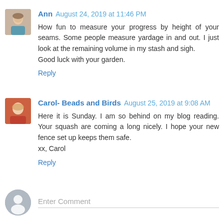Ann  August 24, 2019 at 11:46 PM
How fun to measure your progress by height of your seams. Some people measure yardage in and out. I just look at the remaining volume in my stash and sigh.
Good luck with your garden.
Reply
Carol- Beads and Birds  August 25, 2019 at 9:08 AM
Here it is Sunday. I am so behind on my blog reading. Your squash are coming a long nicely. I hope your new fence set up keeps them safe.
xx, Carol
Reply
Enter Comment